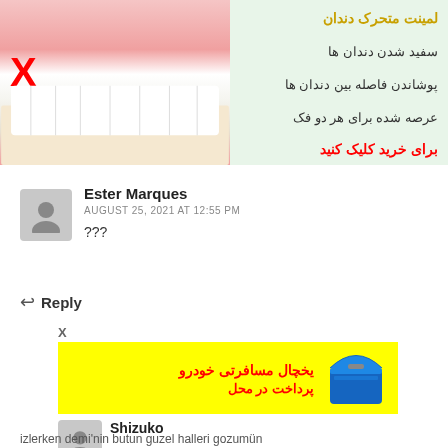[Figure (infographic): Advertisement banner showing dental veneer product with a close-up photo of someone applying veneers to teeth, with a red X mark, and Persian text describing features: movable dental veneers, whitening teeth, covering gaps between teeth, offered for both jaws. Red Persian call-to-action text says click to buy.]
Ester Marques
AUGUST 25, 2021 AT 12:55 PM
???
Reply
[Figure (infographic): Yellow advertisement banner with Persian text in red: travel car refrigerator, payment on delivery. To the right is an image of a blue portable car cooler/refrigerator. A small X close button is shown above the banner. Also shows username Shizuko overlaid.]
Shizuko
izlerken demi'nin butun guzel halleri gozumün